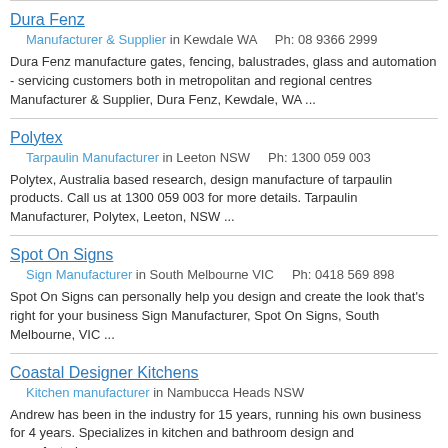Dura Fenz
Manufacturer & Supplier in Kewdale WA    Ph: 08 9366 2999
Dura Fenz manufacture gates, fencing, balustrades, glass and automation - servicing customers both in metropolitan and regional centres Manufacturer & Supplier, Dura Fenz, Kewdale, WA ...
Polytex
Tarpaulin Manufacturer in Leeton NSW    Ph: 1300 059 003
Polytex, Australia based research, design manufacture of tarpaulin products. Call us at 1300 059 003 for more details. Tarpaulin Manufacturer, Polytex, Leeton, NSW ...
Spot On Signs
Sign Manufacturer in South Melbourne VIC    Ph: 0418 569 898
Spot On Signs can personally help you design and create the look that's right for your business Sign Manufacturer, Spot On Signs, South Melbourne, VIC ...
Coastal Designer Kitchens
Kitchen manufacturer in Nambucca Heads NSW
Andrew has been in the industry for 15 years, running his own business for 4 years. Specializes in kitchen and bathroom design and manufacturing